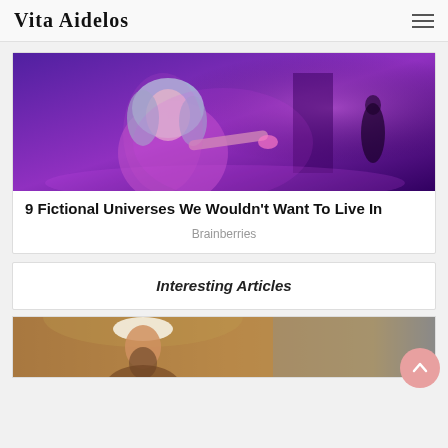Vita Aidelos
[Figure (photo): A sci-fi stylized digital illustration of a young woman with silver/blue bob hair, glowing pink/violet light, pointing her finger toward a shadowy figure in the background. Purple and magenta tones dominate the scene.]
9 Fictional Universes We Wouldn't Want To Live In
Brainberries
Interesting Articles
[Figure (photo): Bottom portion of an illustration showing a bearded man wearing a white turban, in a classical or medieval painting style with warm brown tones.]